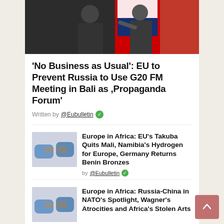[Figure (photo): Two men in suits shaking hands in front of flags including Russian flag]
'No Business as Usual': EU to Prevent Russia to Use G20 FM Meeting in Bali as ,Propaganda Forum'
Written by @Eubulletin
[Figure (photo): Hands in blue gloves handling small electronic or craft items]
Europe in Africa: EU's Takuba Quits Mali, Namibia's Hydrogen for Europe, Germany Returns Benin Bronzes
by @Eubulletin
[Figure (photo): Hands in blue gloves handling small electronic or craft items]
Europe in Africa: Russia-China in NATO's Spotlight, Wagner's Atrocities and Africa's Stolen Arts